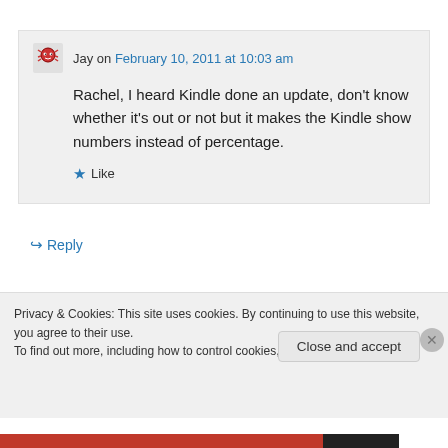Jay on February 10, 2011 at 10:03 am
Rachel, I heard Kindle done an update, don't know whether it's out or not but it makes the Kindle show numbers instead of percentage.
Like
Reply
Privacy & Cookies: This site uses cookies. By continuing to use this website, you agree to their use. To find out more, including how to control cookies, see here: Cookie Policy
Close and accept